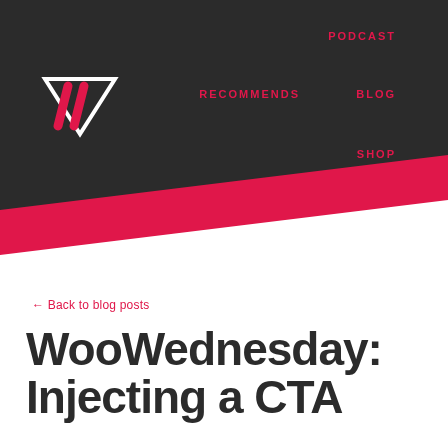[Figure (logo): Website logo: white downward-pointing triangle with two red diagonal slashes]
PODCAST   RECOMMENDS   BLOG   SHOP
[Figure (illustration): Diagonal red and white shape dividing dark header from white content area below]
← Back to blog posts
WooWednesday: Injecting a CTA